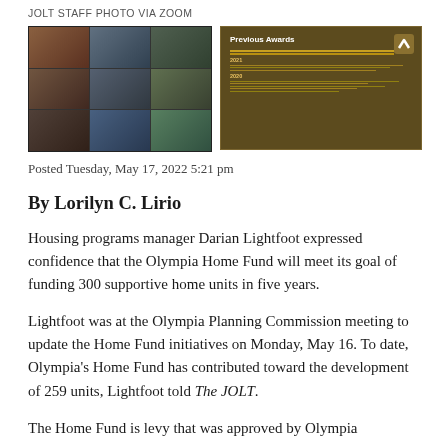JOLT STAFF PHOTO VIA ZOOM
[Figure (photo): Two images side by side: left shows a Zoom meeting screenshot with multiple participants in a grid view; right shows a presentation slide titled 'Previous Awards' with a brown background and gold text lines, featuring a small logo in the upper right.]
Posted Tuesday, May 17, 2022 5:21 pm
By Lorilyn C. Lirio
Housing programs manager Darian Lightfoot expressed confidence that the Olympia Home Fund will meet its goal of funding 300 supportive home units in five years.
Lightfoot was at the Olympia Planning Commission meeting to update the Home Fund initiatives on Monday, May 16. To date, Olympia's Home Fund has contributed toward the development of 259 units, Lightfoot told The JOLT.
The Home Fund is levy that was approved by Olympia